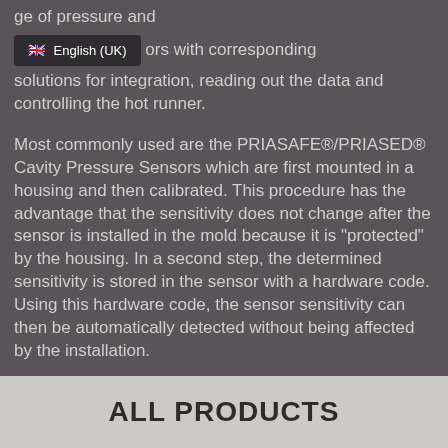ge of pressure and ors with corresponding solutions for integration, reading out the data and controlling the hot runner.
Most commonly used are the PRIASAFE®/PRIASED® Cavity Pressure Sensors which are first mounted in a housing and then calibrated. This procedure has the advantage that the sensitivity does not change after the sensor is installed in the mold because it is "protected" by the housing. In a second step, the determined sensitivity is stored in the sensor with a hardware code. Using this hardware code, the sensor sensitivity can then be automatically detected without being affected by the installation.
ALL PRODUCTS